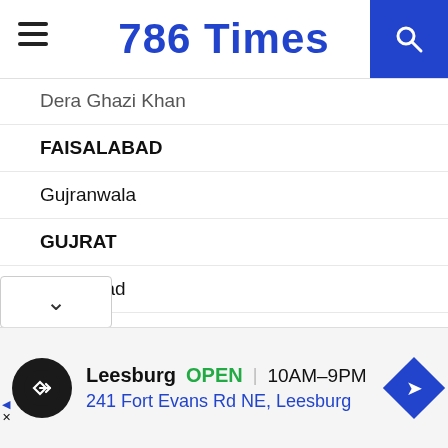786 Times
Dera Ghazi Khan
FAISALABAD
Gujranwala
GUJRAT
Hafizabad
Jhang
KASUR
Khanewal
Lahore
LAYYAH
Mianwali
Leesburg  OPEN  10AM–9PM  241 Fort Evans Rd NE, Leesburg